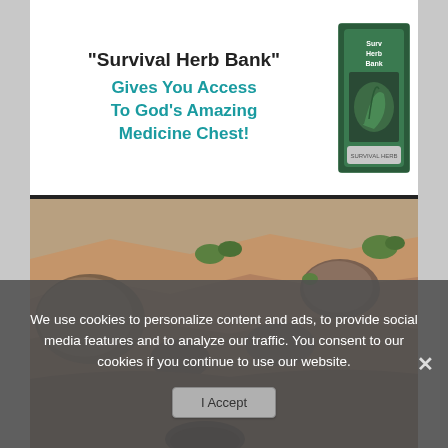"Survival Herb Bank" Gives You Access To God's Amazing Medicine Chest!
[Figure (photo): Outdoor rocky terrain with stones and sparse vegetation, natural landscape]
We use cookies to personalize content and ads, to provide social media features and to analyze our traffic. You consent to our cookies if you continue to use our website.